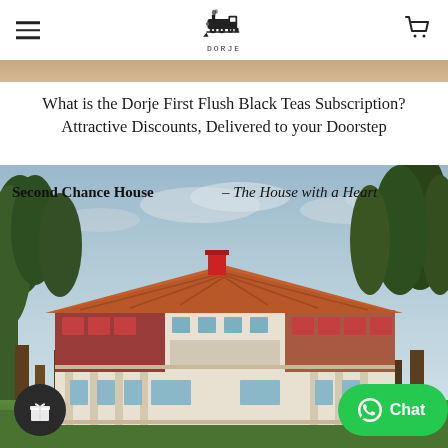Dorje Teas navigation header with hamburger menu, logo, and cart icon
[Figure (photo): Partial view of a warm-toned interior photo strip at the top]
What is the Dorje First Flush Black Teas Subscription? Attractive Discounts, Delivered to your Doorstep
[Figure (photo): Second Chance House – The House with a Heart. Colonial-style bungalow with red tile roof, large windows, surrounded by tall trees under a cloudy blue sky. Text overlay reads 'Second Chance House – The House with a Heart'. Gift icon button bottom-left, WhatsApp Chat button bottom-right.]